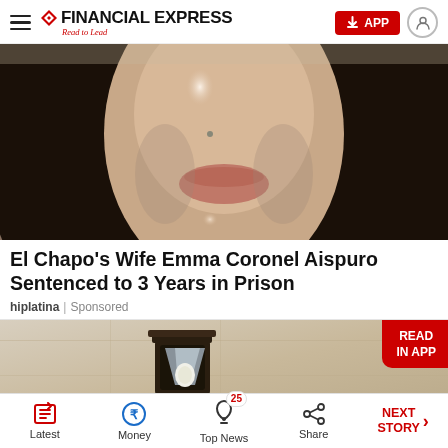FINANCIAL EXPRESS | Read to Lead | APP
[Figure (photo): Close-up photo of a woman's face with long dark hair, partial view showing nose and lips, warm lighting]
El Chapo's Wife Emma Coronel Aispuro Sentenced to 3 Years in Prison
hiplatina | Sponsored
[Figure (photo): Outdoor lamp/lantern mounted on a textured stone wall]
Latest | Money | Top News 25 | Share | NEXT STORY